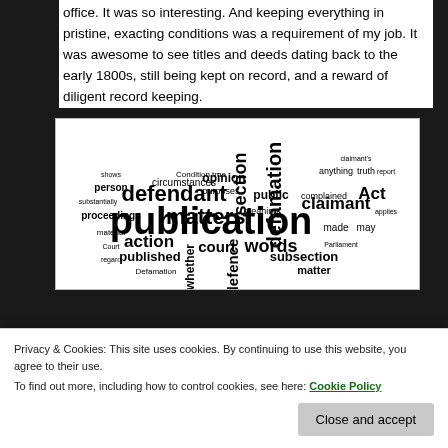office. It was so interesting. And keeping everything in pristine, exacting conditions was a requirement of my job. It was awesome to see titles and deeds dating back to the early 1800s, still being kept on record, and a reward of diligent record keeping.
[Figure (other): Word cloud featuring legal/defamation terms. The largest words are 'publication', 'defendant', 'matters', 'defamation', 'section', 'claimant', 'Act', 'action', 'words', 'court', 'defence', 'subsection', 'published', 'whether', 'public', 'opinion', 'matter', 'proceedings', 'person', 'circumstances', 'purposes', 'meaning', 'made', 'may', 'truth', 'anything', 'complained', 'Defamation'.]
Privacy & Cookies: This site uses cookies. By continuing to use this website, you agree to their use.
To find out more, including how to control cookies, see here: Cookie Policy